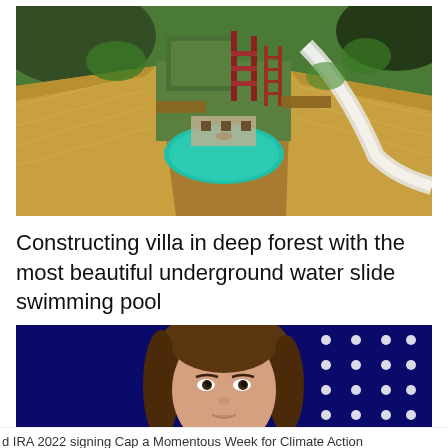[Figure (photo): Aerial view of a villa being constructed in a deep forest, showing thatched roof structures, a green water slide, an underground swimming pool with turquoise water, and wooden scaffolding surrounded by trees and smoke.]
Constructing villa in deep forest with the most beautiful underground water slide swimming pool
[Figure (photo): Close-up photo of a woman with brown hair against a dark blue background with white dots (possibly a flag), cropped at the chin level.]
d IRA 2022 signing Cap a Momentous Week for Climate Action